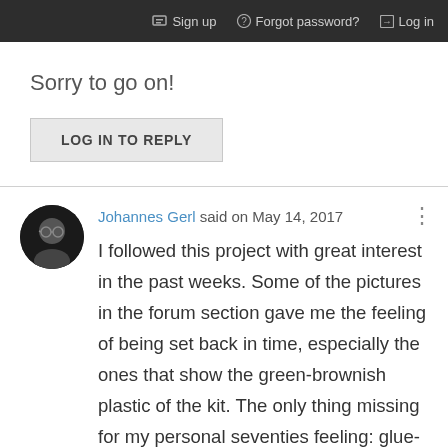Sign up   Forgot password?   Log in
Sorry to go on!
LOG IN TO REPLY
Johannes Gerl said on May 14, 2017
I followed this project with great interest in the past weeks. Some of the pictures in the forum section gave me the feeling of being set back in time, especially the ones that show the green-brownish plastic of the kit. The only thing missing for my personal seventies feeling: glue-made finger prints